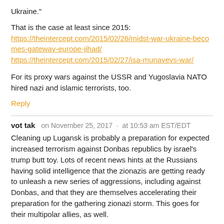Ukraine."
That is the case at least since 2015: https://theintercept.com/2015/02/26/midst-war-ukraine-becomes-gateway-europe-jihad/ https://theintercept.com/2015/02/27/isa-munayevs-war/
For its proxy wars against the USSR and Yugoslavia NATO hired nazi and islamic terrorists, too.
Reply
vot tak   on November 25, 2017  ·  at 10:53 am EST/EDT
Cleaning up Lugansk is probably a preparation for expected increased terrorism against Donbas republics by israel's trump butt toy. Lots of recent news hints at the Russians having solid intelligence that the zionazis are getting ready to unleash a new series of aggressions, including against Donbas, and that they are themselves accelerating their preparation for the gathering zionazi storm. This goes for their multipolar allies, as well.
Reply